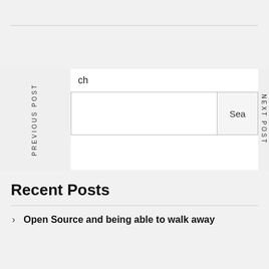ch
PREVIOUS POST
Sea
NEXT POST
Recent Posts
Open Source and being able to walk away